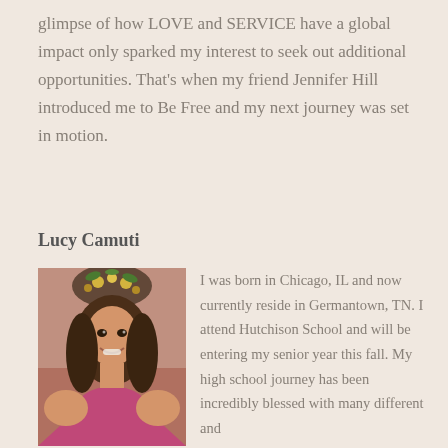glimpse of how LOVE and SERVICE have a global impact only sparked my interest to seek out additional opportunities. That's when my friend Jennifer Hill introduced me to Be Free and my next journey was set in motion.
Lucy Camuti
[Figure (photo): Portrait photo of Lucy Camuti, a young woman with long brown hair, smiling, wearing a pink/magenta top, with festive decorations visible in the background.]
I was born in Chicago, IL and now currently reside in Germantown, TN. I attend Hutchison School and will be entering my senior year this fall. My high school journey has been incredibly blessed with many different and